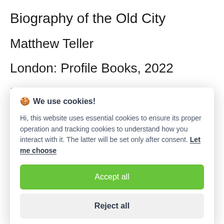Biography of the Old City
Matthew Teller
London: Profile Books, 2022
Pp. 376
[Figure (screenshot): Cookie consent modal dialog with 'We use cookies!' heading, explanatory text about essential and tracking cookies, a 'Let me choose' link, an 'Accept all' green button, and a 'Reject all' grey button.]
and crannies, the emphasis is on people,